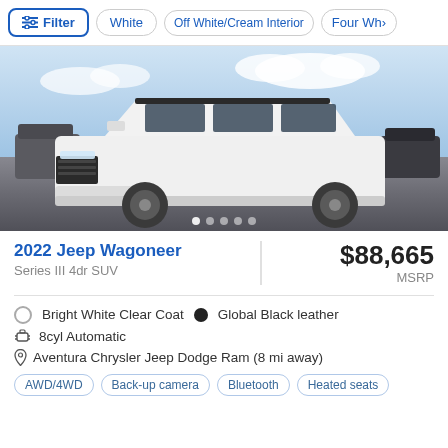Filter | White | Off White/Cream Interior | Four Wh>
[Figure (photo): White 2022 Jeep Wagoneer SUV photographed in a parking lot against a cloudy sky, front three-quarter view. Navigation dots shown below the image.]
2022 Jeep Wagoneer
Series III 4dr SUV
$88,665
MSRP
Bright White Clear Coat   Global Black leather
8cyl Automatic
Aventura Chrysler Jeep Dodge Ram (8 mi away)
AWD/4WD   Back-up camera   Bluetooth   Heated seats